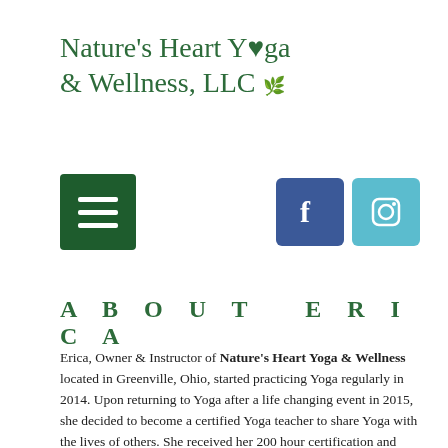Nature's Heart Yoga & Wellness, LLC
[Figure (other): Green hamburger menu button icon and Facebook/Instagram social media icons]
ABOUT ERICA
Erica, Owner & Instructor of Nature's Heart Yoga & Wellness located in Greenville, Ohio, started practicing Yoga regularly in 2014. Upon returning to Yoga after a life changing event in 2015, she decided to become a certified Yoga teacher to share Yoga with the lives of others. She received her 200 hour certification and become a Nationally Registered Yoga Teacher (RYT) in August